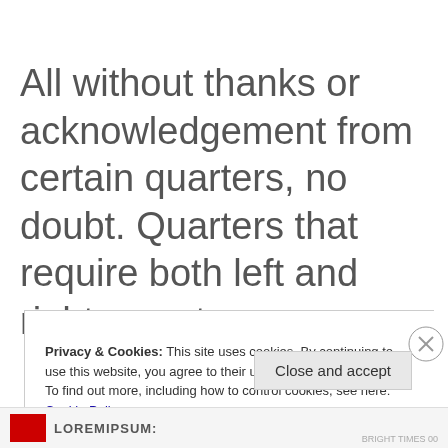All without thanks or acknowledgement from certain quarters, no doubt. Quarters that require both left and right eyes to see.
Privacy & Cookies: This site uses cookies. By continuing to use this website, you agree to their use.
To find out more, including how to control cookies, see here: Cookie Policy
Close and accept